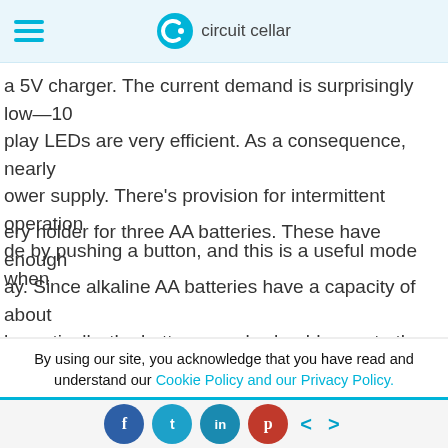circuit cellar
a 5V charger. The current demand is surprisingly low—10 play LEDs are very efficient. As a consequence, nearly ower supply. There's provision for intermittent operation de by pushing a button, and this is a useful mode when
ery holder for three AA batteries. These have enough ay. Since alkaline AA batteries have a capacity of about heoretically, the battery supply should operate the device : 100,000 push-button cycles.
vo 8×8 LED matrix displays that have a total of 128 d were Luckylight KWM-B30881CRGB, which are
By using our site, you acknowledge that you have read and understand our Cookie Policy and our Privacy Policy.
f  t  in  p  < >